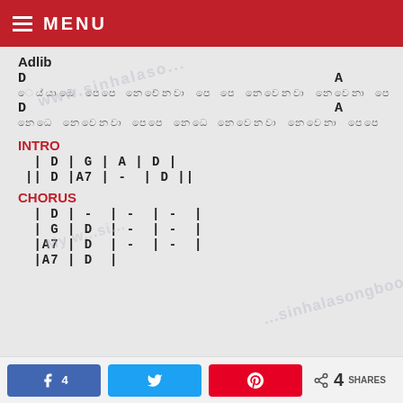MENU
Adlib
D                                    A
[Sinhala lyrics line 1]
D                                    A
[Sinhala lyrics line 2]
INTRO
| D | G | A | D |
|| D |A7 | - | D ||
CHORUS
| D | - | - | - |
| G | D | - | - |
|A7 | D | - | - |
|A7 | D |
4 SHARES